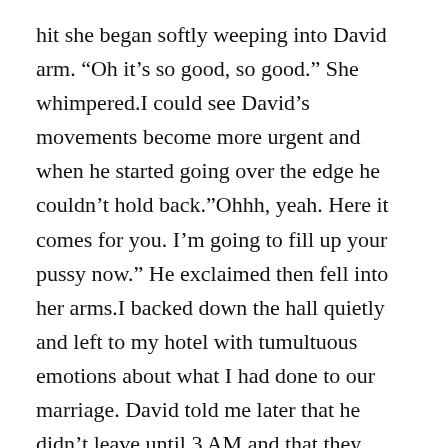hit she began softly weeping into David arm. “Oh it’s so good, so good.” She whimpered.I could see David’s movements become more urgent and when he started going over the edge he couldn’t hold back.”Ohhh, yeah. Here it comes for you. I’m going to fill up your pussy now.” He exclaimed then fell into her arms.I backed down the hall quietly and left to my hotel with tumultuous emotions about what I had done to our marriage. David told me later that he didn’t leave until 3 AM and that they fucked twice more.Chris has never indicated that anything happened. If I hadn’t seen it with my own eyes I would have never known as she still the same loving wife. The one change that has occurred is that she now gets her massages at David’s gym. She decided that she would start training there so she